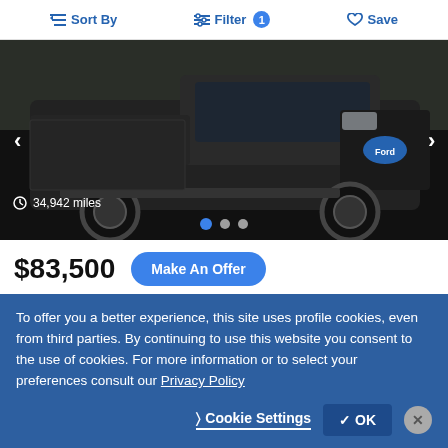Sort By  Filter 1  Save
[Figure (photo): Black 2019 Ford F350 pickup truck, front/side view, dark background]
34,942 miles
$83,500
Make An Offer
Used 2019 FORD Pickup Truck CLASS 3 (GVW 10001 - 14000)
F350
Koons Ford of Silver Spring - Website
Silver Spring, MD - 28 mi away
To offer you a better experience, this site uses profile cookies, even from third parties. By continuing to use this website you consent to the use of cookies. For more information or to select your preferences consult our Privacy Policy
Cookie Settings  OK